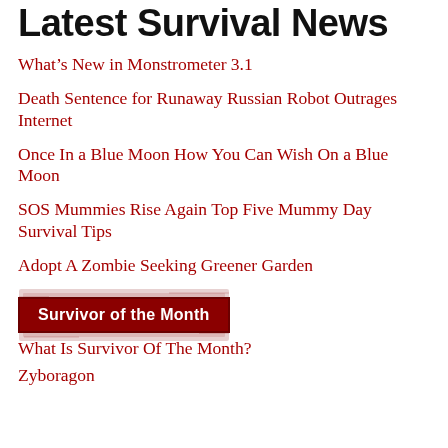Latest Survival News
What's New in Monstrometer 3.1
Death Sentence for Runaway Russian Robot Outrages Internet
Once In a Blue Moon How You Can Wish On a Blue Moon
SOS Mummies Rise Again Top Five Mummy Day Survival Tips
Adopt A Zombie Seeking Greener Garden
[Figure (illustration): Red rubber stamp graphic reading 'Survivor of the Month' with distressed ink texture on white background]
What Is Survivor Of The Month?
Zyboragon